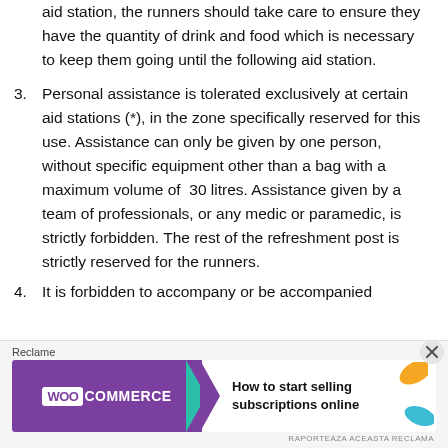aid station, the runners should take care to ensure they have the quantity of drink and food which is necessary to keep them going until the following aid station.
3. Personal assistance is tolerated exclusively at certain aid stations (*), in the zone specifically reserved for this use. Assistance can only be given by one person, without specific equipment other than a bag with a maximum volume of 30 litres. Assistance given by a team of professionals, or any medic or paramedic, is strictly forbidden. The rest of the refreshment post is strictly reserved for the runners.
4. It is forbidden to accompany or be accompanied
[Figure (other): WooCommerce advertisement banner: 'How to start selling subscriptions online'. Purple and teal arrow design with orange and blue decorative leaves. Labeled 'Reclame' at top with small disclaimer text at bottom.]